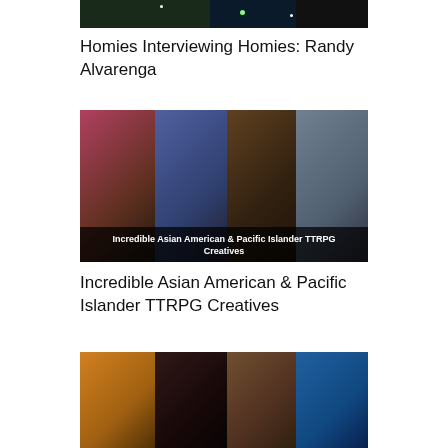[Figure (photo): Partial top image showing a dark background with stars/dots, cropped at top of page]
Homies Interviewing Homies: Randy Alvarenga
[Figure (photo): Collage of four portraits with text overlay reading 'Incredible Asian American & Pacific Islander TTRPG Creatives']
Incredible Asian American & Pacific Islander TTRPG Creatives
[Figure (photo): Collage of four portraits partially visible at bottom of page]